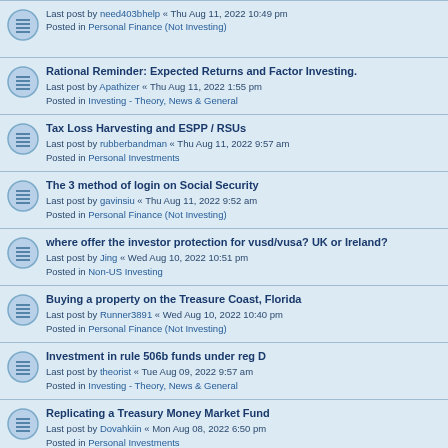Last post by need403bhelp « Thu Aug 11, 2022 10:49 pm
Posted in Personal Finance (Not Investing)
Rational Reminder: Expected Returns and Factor Investing.
Last post by Apathizer « Thu Aug 11, 2022 1:55 pm
Posted in Investing - Theory, News & General
Tax Loss Harvesting and ESPP / RSUs
Last post by rubberbandman « Thu Aug 11, 2022 9:57 am
Posted in Personal Investments
The 3 method of login on Social Security
Last post by gavinsiu « Thu Aug 11, 2022 9:52 am
Posted in Personal Finance (Not Investing)
where offer the investor protection for vusd/vusa? UK or Ireland?
Last post by Jing « Wed Aug 10, 2022 10:51 pm
Posted in Non-US Investing
Buying a property on the Treasure Coast, Florida
Last post by Runner3891 « Wed Aug 10, 2022 10:40 pm
Posted in Personal Finance (Not Investing)
Investment in rule 506b funds under reg D
Last post by theorist « Tue Aug 09, 2022 9:57 am
Posted in Investing - Theory, News & General
Replicating a Treasury Money Market Fund
Last post by Dovahkiin « Mon Aug 08, 2022 6:50 pm
Posted in Personal Investments
Lockup fixed income in TIAA Traditional GRA for 2% premium?